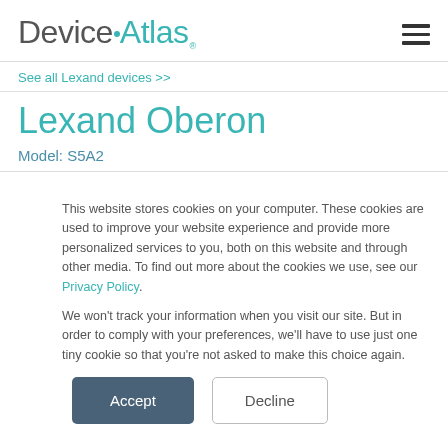DeviceAtlas
See all Lexand devices >>
Lexand Oberon
Model: S5A2
This website stores cookies on your computer. These cookies are used to improve your website experience and provide more personalized services to you, both on this website and through other media. To find out more about the cookies we use, see our Privacy Policy.

We won't track your information when you visit our site. But in order to comply with your preferences, we'll have to use just one tiny cookie so that you're not asked to make this choice again.
Accept
Decline